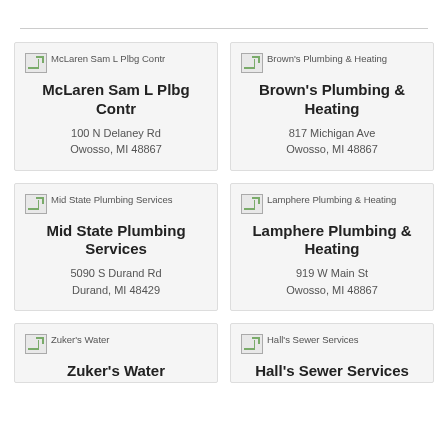McLaren Sam L Plbg Contr
100 N Delaney Rd
Owosso, MI 48867
Brown's Plumbing & Heating
817 Michigan Ave
Owosso, MI 48867
Mid State Plumbing Services
5090 S Durand Rd
Durand, MI 48429
Lamphere Plumbing & Heating
919 W Main St
Owosso, MI 48867
Zuker's Water
Hall's Sewer Services